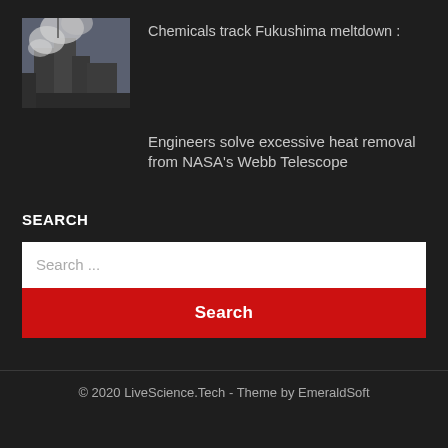[Figure (photo): Photo of the Fukushima nuclear plant with smoke/steam visible]
Chemicals track Fukushima meltdown :
Engineers solve excessive heat removal from NASA's Webb Telescope
SEARCH
Search ...
Search
© 2020 LiveScience.Tech - Theme by EmeraldSoft